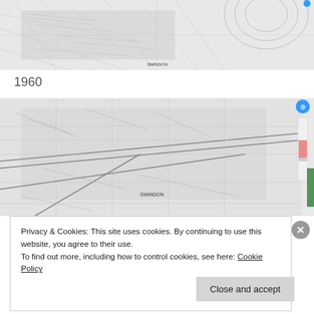[Figure (map): Historical black and white topographic map of Swindon area, top portion, showing streets, railway lines and surrounding countryside with circular compass-style lines in top right.]
1960
[Figure (map): Historical black and white topographic map of Swindon area, 1960, showing urban development, railway lines, streets and surrounding fields. Map controls visible on right edge including zoom slider and blue location button.]
Privacy & Cookies: This site uses cookies. By continuing to use this website, you agree to their use.
To find out more, including how to control cookies, see here: Cookie Policy
Close and accept